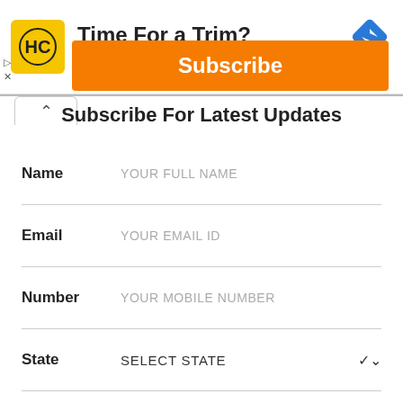[Figure (advertisement): Hair Cuttery ad banner with yellow HC logo, text 'Time For a Trim?' and 'Hair Cuttery' in blue, and a blue diamond direction sign icon in the top right.]
Subscribe For Latest Updates
Name — YOUR FULL NAME
Email — YOUR EMAIL ID
Number — YOUR MOBILE NUMBER
State — SELECT STATE
City — SELECT CITY
Subscribe